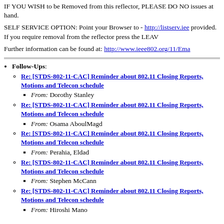IF YOU WISH to be Removed from this reflector, PLEASE DO NOT reply to the issues at hand.
SELF SERVICE OPTION: Point your Browser to - http://listserv.ieee... provided. If you require removal from the reflector press the LEAVE...
Further information can be found at: http://www.ieee802.org/11/Ema...
Follow-Ups:
Re: [STDS-802-11-CAC] Reminder about 802.11 Closing Reports, Motions and Telecon schedule
From: Dorothy Stanley
Re: [STDS-802-11-CAC] Reminder about 802.11 Closing Reports, Motions and Telecon schedule
From: Osama AboulMagd
Re: [STDS-802-11-CAC] Reminder about 802.11 Closing Reports, Motions and Telecon schedule
From: Perahia, Eldad
Re: [STDS-802-11-CAC] Reminder about 802.11 Closing Reports, Motions and Telecon schedule
From: Stephen McCann
Re: [STDS-802-11-CAC] Reminder about 802.11 Closing Reports, Motions and Telecon schedule
From: Hiroshi Mano